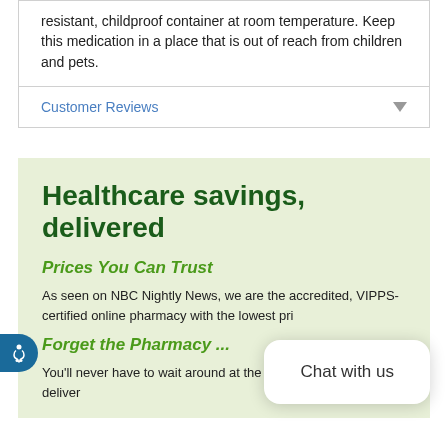resistant, childproof container at room temperature. Keep this medication in a place that is out of reach from children and pets.
Customer Reviews
Healthcare savings, delivered
Prices You Can Trust
As seen on NBC Nightly News, we are the accredited, VIPPS-certified online pharmacy with the lowest pri...
Forget the Pharmacy ...
You'll never have to wait around at the pharmacy again - we deliver